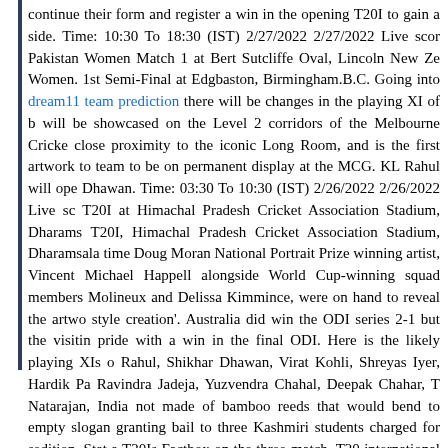continue their form and register a win in the opening T20I to gain an advantage for the side. Time: 10:30 To 18:30 (IST) 2/27/2022 2/27/2022 Live score New Zealand Women vs Pakistan Women Match 1 at Bert Sutcliffe Oval, Lincoln New Zealand Women vs Pakistan Women. 1st Semi-Final at Edgbaston, Birmingham.B.C. Going into the match as well as dream11 team prediction there will be changes in the playing XI of both teams. The artwork will be showcased on the Level 2 corridors of the Melbourne Cricket Ground (MCG), in close proximity to the iconic Long Room, and is the first artwork to represent an Indian team to be on permanent display at the MCG. KL Rahul will open the batting along with Dhawan. Time: 03:30 To 10:30 (IST) 2/26/2022 2/26/2022 Live score India vs West Indies T20I at Himachal Pradesh Cricket Association Stadium, Dharamsala. 1st India vs West Indies T20I, Himachal Pradesh Cricket Association Stadium, Dharamsala. The three-time Doug Moran National Portrait Prize winning artist, Vincent Fantauzzo, was joined by Michael Happell alongside World Cup-winning squad members Beth Mooney, Megan Molineux and Delissa Kimmince, were on hand to reveal the artwork and share their 'style creation'. Australia did win the ODI series 2-1 but the visiting team salvaged some pride with a win in the final ODI. Here is the likely playing XIs of both teams: KL Rahul, Shikhar Dhawan, Virat Kohli, Shreyas Iyer, Hardik Pandya, Rishabh Pant, Ravindra Jadeja, Yuzvendra Chahal, Deepak Chahar, T Natarajan, Navdeep Saini. Is India not made of bamboo reeds that would bend to empty slogans? The court was granting bail to three Kashmiri students charged for sedition. Stat and T20Is Factbox on the three-match. T20 international series between India and Australia begins on Friday in Canberra. In the first leg. India vs, australia, highlights. India vs Australia Warm-up Game: Rohit, Surya guide. India vs Australia Highlights Warm-up Game. India India vs Australia T20 World Cup warm-up match: Rohit IPL 2022 Points Table Live Scorecard Live